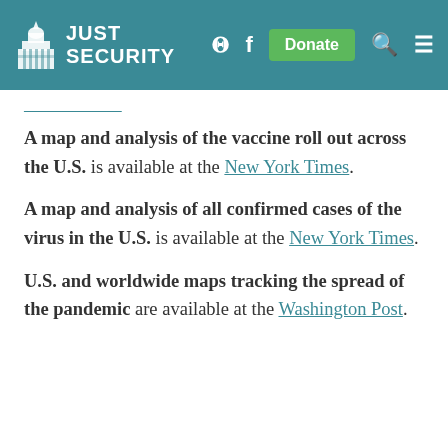Just Security — navigation header with logo, Twitter, Facebook, Donate, Search, Menu
A map and analysis of the vaccine roll out across the U.S. is available at the New York Times.
A map and analysis of all confirmed cases of the virus in the U.S. is available at the New York Times.
U.S. and worldwide maps tracking the spread of the pandemic are available at the Washington Post.